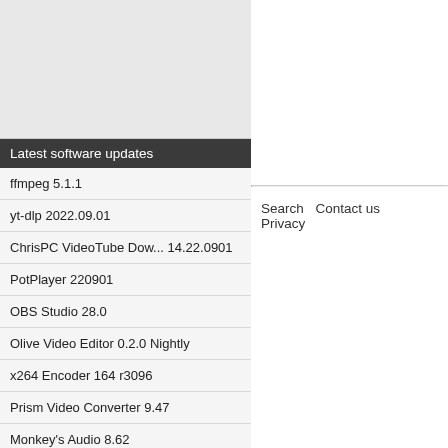[Figure (other): Advertisement or banner area (gray box)]
Latest software updates
ffmpeg 5.1.1
yt-dlp 2022.09.01
ChrisPC VideoTube Dow... 14.22.0901
PotPlayer 220901
OBS Studio 28.0
Olive Video Editor 0.2.0 Nightly
x264 Encoder 164 r3096
Prism Video Converter 9.47
Monkey's Audio 8.62
Ant Download Manager 2.7.4 / 2.7.5 Beta
Search   Contact us   Privacy